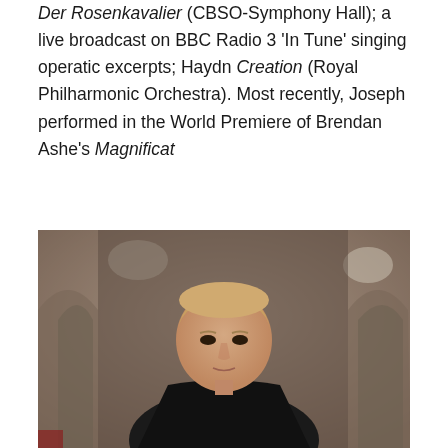Strauss' Der Rosenkavalier (CBSO-Symphony Hall); a live broadcast on BBC Radio 3 'In Tune' singing operatic excerpts; Haydn Creation (Royal Philharmonic Orchestra). Most recently, Joseph performed in the World Premiere of Brendan Ashe's Magnificat
[Figure (photo): A man with light blond hair wearing a dark suit jacket, photographed in front of ornate Gothic stone architecture, likely the interior of a cathedral. The image is slightly warm-toned.]